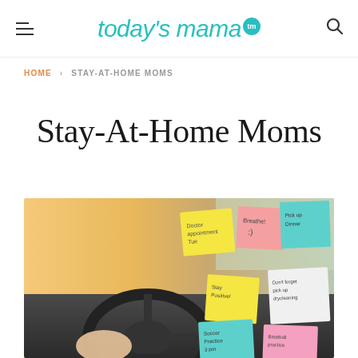today's mama™
HOME > STAY-AT-HOME MOMS
Stay-At-Home Moms
[Figure (photo): Car dashboard and steering wheel covered with colorful sticky notes including 'Breathe', 'Pick up Dinner', 'Stay Positive', 'Don't forget pick up drycleaning', 'Soccer Practice 3pm', 'Baseball practice']